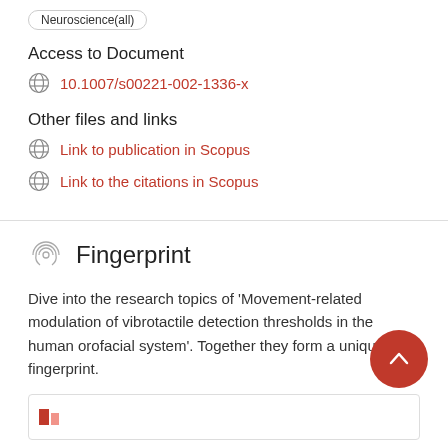Neuroscience(all)
Access to Document
10.1007/s00221-002-1336-x
Other files and links
Link to publication in Scopus
Link to the citations in Scopus
Fingerprint
Dive into the research topics of 'Movement-related modulation of vibrotactile detection thresholds in the human orofacial system'. Together they form a unique fingerprint.